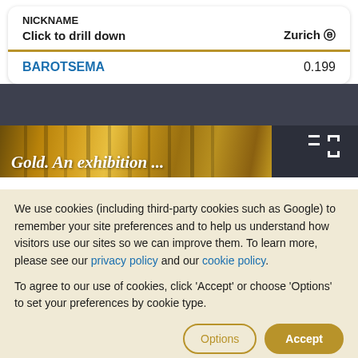NICKNAME
Click to drill down    Zurich 🔍
BAROTSEMA    0.199
[Figure (screenshot): Gold exhibition partial image with text 'Gold. An exhibition' overlaid in white italic font on a golden metallic ribbed background.]
We use cookies (including third-party cookies such as Google) to remember your site preferences and to help us understand how visitors use our sites so we can improve them. To learn more, please see our privacy policy and our cookie policy.
To agree to our use of cookies, click 'Accept' or choose 'Options' to set your preferences by cookie type.